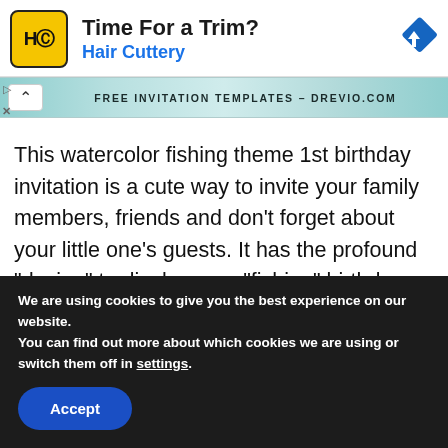[Figure (screenshot): Hair Cuttery advertisement banner with HC logo, title 'Time For a Trim?', subtitle 'Hair Cuttery', and a blue navigation/directions diamond icon on the right. Small play and X controls on the left side.]
[Figure (screenshot): Teal/aqua watercolor banner with caret/up-arrow button on left and text 'FREE INVITATION TEMPLATES - DREVIO.COM' centered.]
This watercolor fishing theme 1st birthday invitation is a cute way to invite your family members, friends and don't forget about your little one's guests. It has the profound “design” to display your “fishing” birthday bash
We are using cookies to give you the best experience on our website.
You can find out more about which cookies we are using or switch them off in settings.
Accept